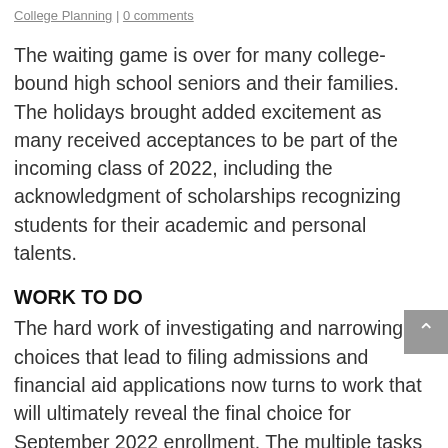College Planning | 0 comments
The waiting game is over for many college-bound high school seniors and their families. The holidays brought added excitement as many received acceptances to be part of the incoming class of 2022, including the acknowledgment of scholarships recognizing students for their academic and personal talents.
WORK TO DO
The hard work of investigating and narrowing choices that lead to filing admissions and financial aid applications now turns to work that will ultimately reveal the final choice for September 2022 enrollment. The multiple tasks